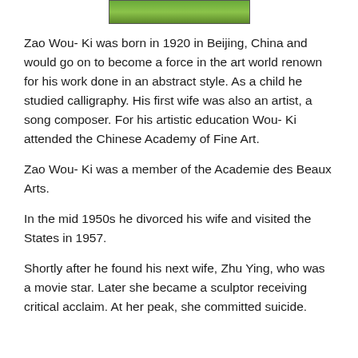[Figure (photo): Partial image at top of page, appears to show green foliage or landscape]
Zao Wou- Ki was born in 1920 in Beijing, China and would go on to become a force in the art world renown for his work done in an abstract style. As a child he studied calligraphy. His first wife was also an artist, a song composer. For his artistic education Wou- Ki attended the Chinese Academy of Fine Art.
Zao Wou- Ki was a member of the Academie des Beaux Arts.
In the mid 1950s he divorced his wife and visited the States in 1957.
Shortly after he found his next wife, Zhu Ying, who was a movie star. Later she became a sculptor receiving critical acclaim. At her peak, she committed suicide.